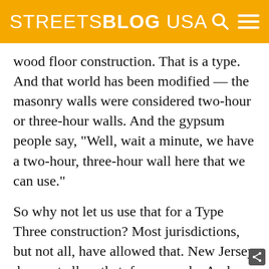STREETSBLOG USA
wood floor construction. That is a type. And that world has been modified — the masonry walls were considered two-hour or three-hour walls. And the gypsum people say, “Well, wait a minute, we have a two-hour, three-hour wall here that we can use.”
So why not let us use that for a Type Three construction? Most jurisdictions, but not all, have allowed that. New Jersey does not allow that, for example. And then the next tranch down is all-wood construction — all sprinklered. And then, you go down in lower and lower tranches and their cost each of these tranches or the level of fire protection, the building is given changes. As you move up, there’s a sprinkler system where you were required to